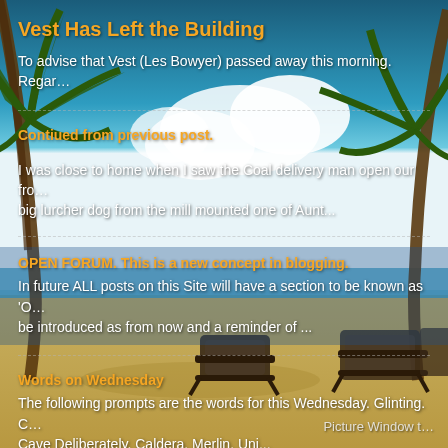Vest Has Left the Building
To advise that Vest (Les Bowyer) passed away this morning. Regar…
Contiued from previous post.
I was close to home when I saw the Coal delivery man open our fro… big lurcher dog from the mill mounted one of Aunt...
OPEN FORUM. This is a new concept in blogging.
In future ALL posts on this Site will have a section to be known as 'O… be introduced as from now and a reminder of ...
Words on Wednesday
The following prompts are the words for this Wednesday. Glinting. C… Cave Deliberately. Caldera. Merlin. Uni...
Picture Window t…